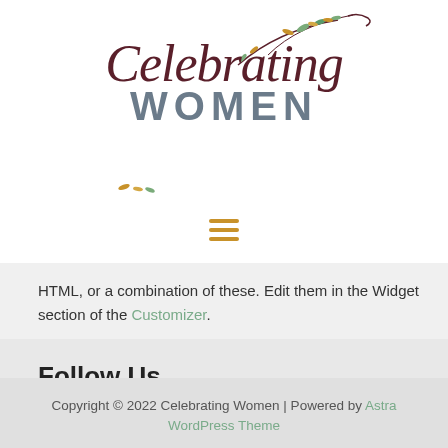[Figure (logo): Celebrating Women logo with script font and decorative leaf/branch illustration above]
[Figure (other): Hamburger menu icon with three horizontal orange/gold lines]
HTML, or a combination of these. Edit them in the Widget section of the Customizer.
Follow Us
Copyright © 2022 Celebrating Women | Powered by Astra WordPress Theme